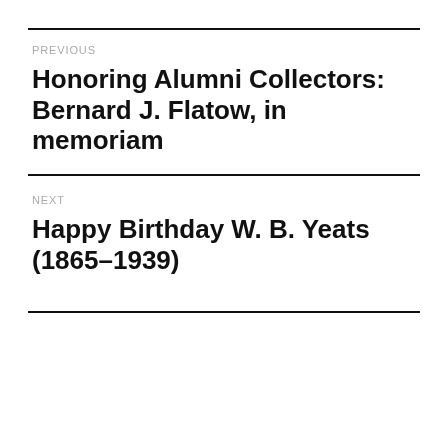PREVIOUS
Honoring Alumni Collectors: Bernard J. Flatow, in memoriam
NEXT
Happy Birthday W. B. Yeats (1865–1939)